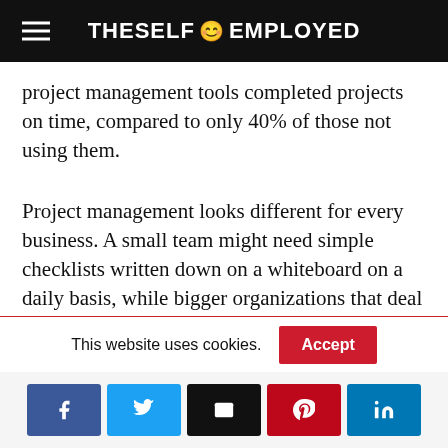THESELF EMPLOYED
project management tools completed projects on time, compared to only 40% of those not using them.
Project management looks different for every business. A small team might need simple checklists written down on a whiteboard on a daily basis, while bigger organizations that deal with sensitive data may need more sophisticated tools. For instance, while the legal admissibility of electronic documents might not be a concern for all companies, organizations that practice legal project
This website uses cookies.
[Figure (infographic): Social sharing bar with icons for Facebook, Twitter, Email, Pinterest, and LinkedIn]